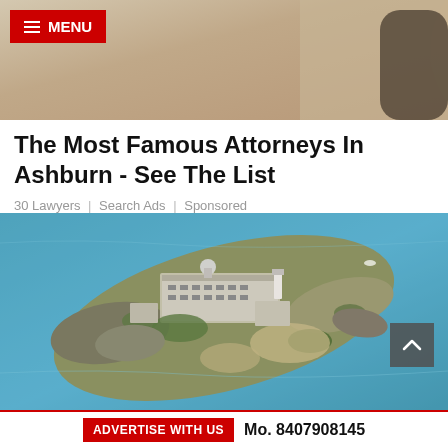[Figure (photo): Top banner: partial view of a person in dark clothing, warm/golden background tones]
The Most Famous Attorneys In Ashburn - See The List
30 Lawyers | Search Ads | Sponsored
[Figure (photo): Aerial photograph of Alcatraz Island surrounded by blue-green water, showing the prison buildings, rocky terrain, and various structures on the island]
ADVERTISE WITH US   Mo. 8407908145